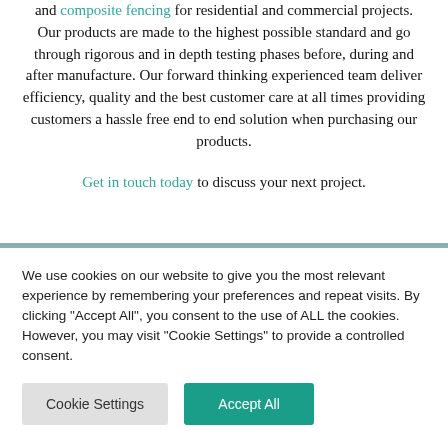and composite fencing for residential and commercial projects. Our products are made to the highest possible standard and go through rigorous and in depth testing phases before, during and after manufacture. Our forward thinking experienced team deliver efficiency, quality and the best customer care at all times providing customers a hassle free end to end solution when purchasing our products.
Get in touch today to discuss your next project.
We use cookies on our website to give you the most relevant experience by remembering your preferences and repeat visits. By clicking "Accept All", you consent to the use of ALL the cookies. However, you may visit "Cookie Settings" to provide a controlled consent.